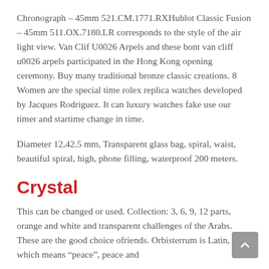Chronograph – 45mm 521.CM.1771.RXHublot Classic Fusion – 45mm 511.OX.7180.LR corresponds to the style of the air light view. Van Clif U0026 Arpels and these bont van cliff u0026 arpels participated in the Hong Kong opening ceremony. Buy many traditional bronze classic creations. 8 Women are the special time rolex replica watches developed by Jacques Rodriguez. It can luxury watches fake use our timer and startime change in time.
Diameter 12,42.5 mm, Transparent glass bag, spiral, waist, beautiful spiral, high, phone filling, waterproof 200 meters.
Crystal
This can be changed or used. Collection: 3, 6, 9, 12 parts, orange and white and transparent challenges of the Arabs. These are the good choice ofriends. Orbisterrum is Latin, which means “peace”, peace and